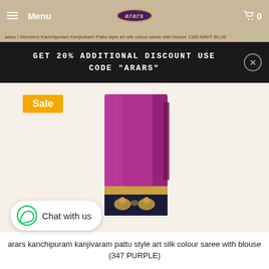Menu | arars | 0
arars / Women's Kanchipuram Kanjivaram Pattu style art silk colour saree with blouse 1340 NAVY BLUE
GET 20% ADDITIONAL DISCOUNT USE CODE "ARARS"
Sale
[Figure (photo): Folded silk saree in purple/magenta color with dark navy border featuring gold zari peacock motifs]
Chat with us
arars kanchipuram kanjivaram pattu style art silk colour saree with blouse (347 PURPLE)